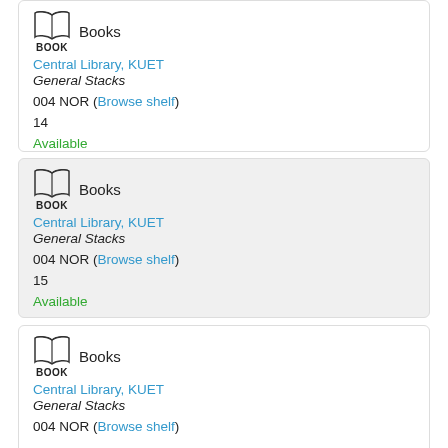Books — Central Library, KUET — General Stacks — 004 NOR (Browse shelf) — 14 — Available
Books — Central Library, KUET — General Stacks — 004 NOR (Browse shelf) — 15 — Available
Books — Central Library, KUET — General Stacks — 004 NOR (Browse shelf) — 16 — ...